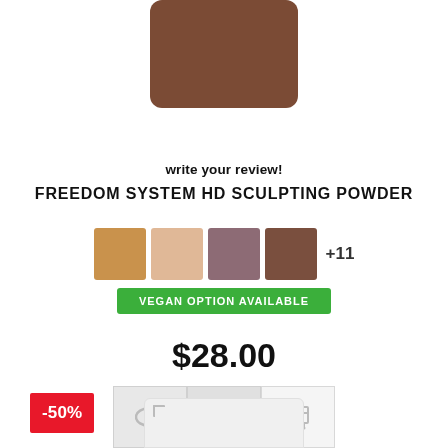[Figure (photo): Brown compact powder product image, cropped at top]
write your review!
FREEDOM SYSTEM HD SCULPTING POWDER
[Figure (other): Four color swatches: tan, light peach, mauve, brown; with +11 label and VEGAN OPTION AVAILABLE green badge]
$28.00
[Figure (other): Three action buttons: eye icon, heart icon, shopping cart icon]
-50%
[Figure (photo): Partial product image at bottom of page, white/light colored product]